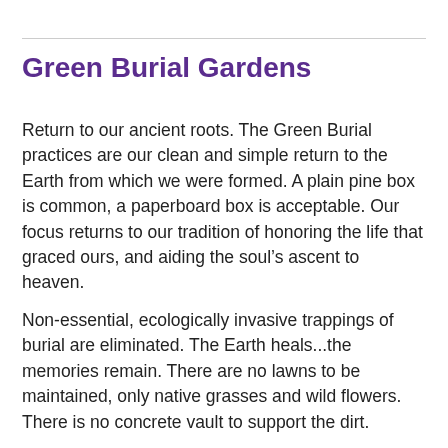Green Burial Gardens
Return to our ancient roots. The Green Burial practices are our clean and simple return to the Earth from which we were formed. A plain pine box is common, a paperboard box is acceptable. Our focus returns to our tradition of honoring the life that graced ours, and aiding the soul’s ascent to heaven.
Non-essential, ecologically invasive trappings of burial are eliminated. The Earth heals…the memories remain. There are no lawns to be maintained, only native grasses and wild flowers. There is no concrete vault to support the dirt.